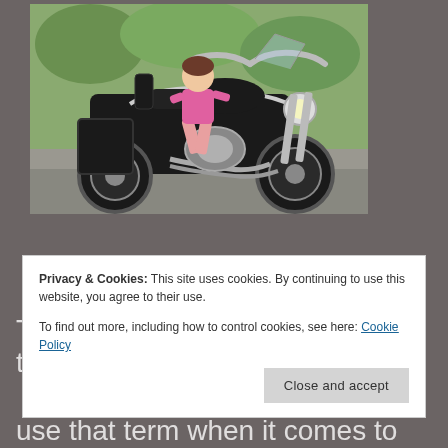[Figure (photo): A young girl in a pink shirt sitting on a large black Harley-Davidson motorcycle, parked on a driveway with green grass and trees in the background.]
The further I get into the future, the
Privacy & Cookies: This site uses cookies. By continuing to use this website, you agree to their use.
To find out more, including how to control cookies, see here: Cookie Policy
Close and accept
use that term when it comes to